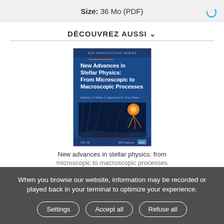Size: 36 Mo (PDF)
DÉCOUVREZ AUSSI
[Figure (illustration): Book cover of 'New Advances in Stellar Physics: From Microscopic to Macroscopic Processes' with a blue background and an image of a stellar landscape with an orange star]
New advances in stellar physics: from microscopic to macroscopic processes
70,00 €
When you browse our website, information may be recorded or played back in your terminal to optimize your experience.
Settings
Accept all
Refuse all